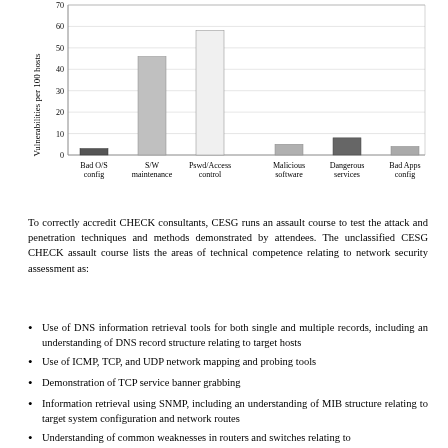[Figure (bar-chart): Vulnerabilities per 100 hosts]
To correctly accredit CHECK consultants, CESG runs an assault course to test the attack and penetration techniques and methods demonstrated by attendees. The unclassified CESG CHECK assault course lists the areas of technical competence relating to network security assessment as:
Use of DNS information retrieval tools for both single and multiple records, including an understanding of DNS record structure relating to target hosts
Use of ICMP, TCP, and UDP network mapping and probing tools
Demonstration of TCP service banner grabbing
Information retrieval using SNMP, including an understanding of MIB structure relating to target system configuration and network routes
Understanding of common weaknesses in routers and switches relating to